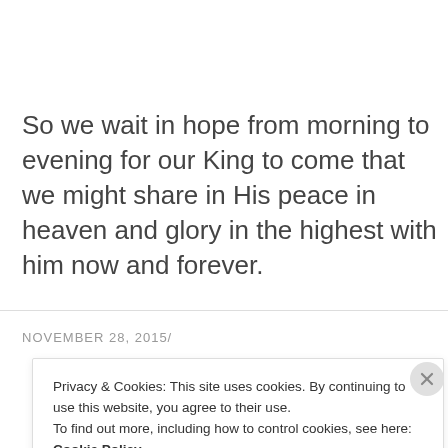So we wait in hope from morning to evening for our King to come that we might share in His peace in heaven and glory in the highest with him now and forever.
NOVEMBER 28, 2015/
Privacy & Cookies: This site uses cookies. By continuing to use this website, you agree to their use.
To find out more, including how to control cookies, see here: Cookie Policy
Close and accept